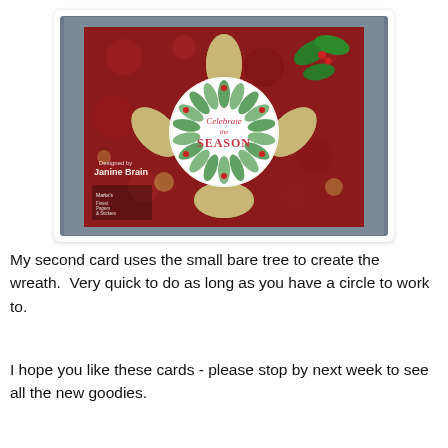[Figure (photo): A Christmas card featuring a decorative die-cut snowflake/doily shape in tan/gold on a red patterned background with holly leaves. A white circle in the center displays a stamped wreath with text 'Celebrate the SEASON'. A watermark reads 'Designed by Janine Brain' with a Marks's logo at bottom left.]
My second card uses the small bare tree to create the wreath.  Very quick to do as long as you have a circle to work to.
I hope you like these cards - please stop by next week to see all the new goodies.